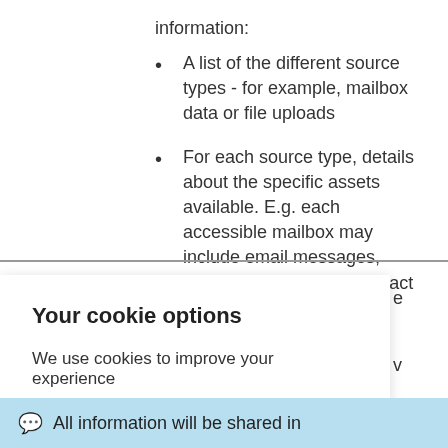information:
A list of the different source types - for example, mailbox data or file uploads
For each source type, details about the specific assets available. E.g. each accessible mailbox may include email messages, calendar events, and contact
Your cookie options
We use cookies to improve your experience
Learn more
Dismiss
All information will be shared in